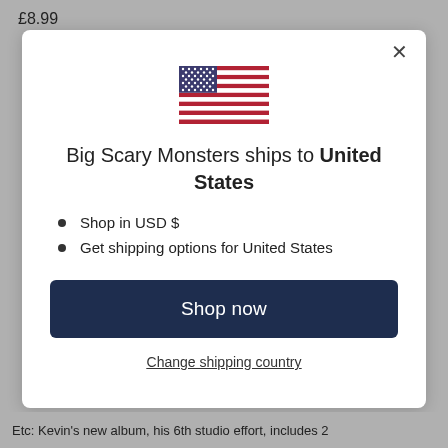£8.99
[Figure (illustration): US flag SVG illustration centered in modal]
Big Scary Monsters ships to United States
Shop in USD $
Get shipping options for United States
Shop now
Change shipping country
Etc: Kevin's new album, his 6th studio effort, includes 2